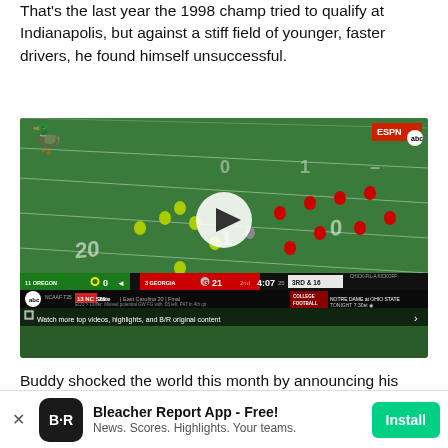That's the last year the 1998 champ tried to qualify at Indianapolis, but against a stiff field of younger, faster drivers, he found himself unsuccessful.
[Figure (screenshot): ESPN/ABC broadcast screenshot of college football game between Oregon (0) and Georgia (21) in the 2nd quarter with 4:07 remaining, 3rd & 16. Score bar at bottom and ticker. Watch more top videos, highlights, and B/R original content overlay.]
Buddy shocked the world this month by announcing his